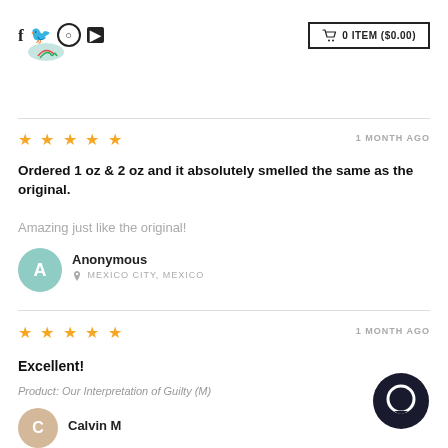f 🐦 ○ ▶   🛒 0 ITEM ($0.00)
[Figure (logo): Website logo with green leaf/check mark design]
★★★★★   1 MONTH AGO
Ordered 1 oz & 2 oz and it absolutely smelled the same as the original.
Amazing just like the original!
Anonymous
📍 MEXICO CITY, MEXICO
★★★★★   1 MONTH AGO
Excellent!
Product: Our Interpretation of Guilty (M)
Calvin M